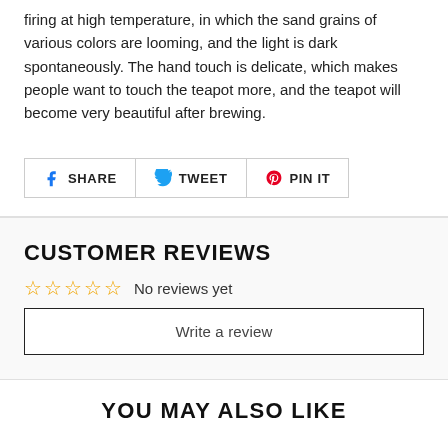firing at high temperature, in which the sand grains of various colors are looming, and the light is dark spontaneously. The hand touch is delicate, which makes people want to touch the teapot more, and the teapot will become very beautiful after brewing.
[Figure (other): Social share buttons: Facebook SHARE, Twitter TWEET, Pinterest PIN IT]
CUSTOMER REVIEWS
[Figure (other): 5 empty star rating icons in orange, with text 'No reviews yet']
Write a review
YOU MAY ALSO LIKE